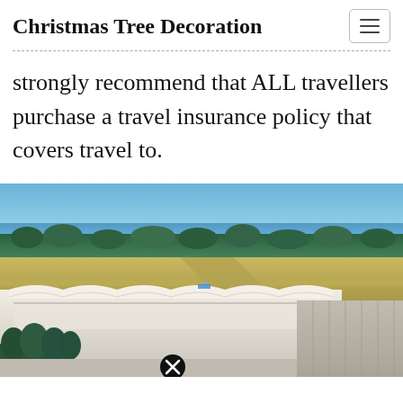Christmas Tree Decoration
strongly recommend that ALL travellers purchase a travel insurance policy that covers travel to.
[Figure (photo): Aerial view of an airport terminal with runway, green trees, and ocean visible in the background under a blue sky.]